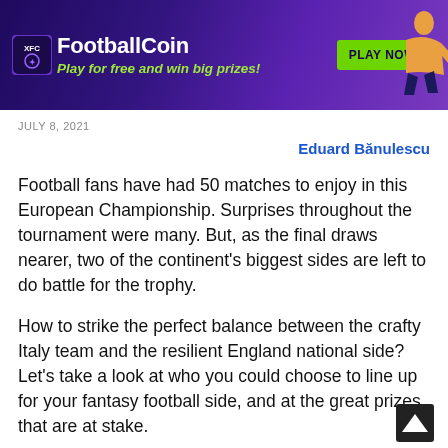[Figure (other): FootballCoin advertisement banner with purple gradient background, XFC logo, site title 'FootballCoin', tagline 'Play for free and win big prizes!', green 'PLAY NOW' button, and a football player image on the right.]
JULY 8, 2021
Eduard Bănulescu
Football fans have had 50 matches to enjoy in this European Championship. Surprises throughout the tournament were many. But, as the final draws nearer, two of the continent's biggest sides are left to do battle for the trophy.
How to strike the perfect balance between the crafty Italy team and the resilient England national side? Let's take a look at who you could choose to line up for your fantasy football side, and at the great prizes that are at stake.